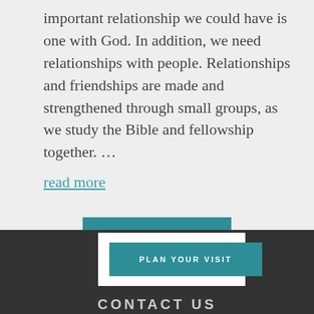important relationship we could have is one with God. In addition, we need relationships with people. Relationships and friendships are made and strengthened through small groups, as we study the Bible and fellowship together. …
read more
LOAD MORE
PLAN YOUR VISIT
CONTACT US